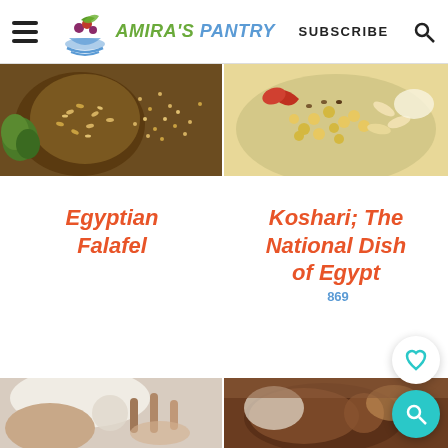AMIRA'S PANTRY — SUBSCRIBE
[Figure (photo): Close-up photo of Egyptian falafel with sesame seeds and green herbs]
[Figure (photo): Close-up photo of Koshari dish with chickpeas, rice, lentils and tomato sauce]
Egyptian Falafel
Koshari; The National Dish of Egypt 869
[Figure (photo): Partial photo of a food dish, bottom left]
[Figure (photo): Partial photo of a food dish, bottom right]